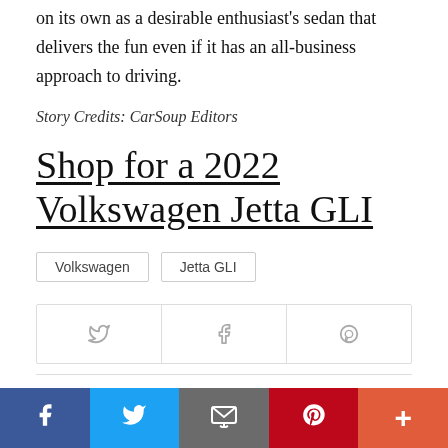on its own as a desirable enthusiast's sedan that delivers the fun even if it has an all-business approach to driving.
Story Credits: CarSoup Editors
Shop for a 2022 Volkswagen Jetta GLI
Volkswagen
Jetta GLI
[Figure (other): Social share buttons: Twitter bird icon, Facebook f icon, Pinterest P icon]
[Figure (other): Bottom navigation bar with Facebook (blue), Twitter (light blue), Email (gray), Pinterest (red), More (orange-red) buttons]